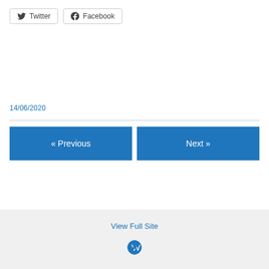Twitter  Facebook
14/06/2020
« Previous
Next »
View Full Site